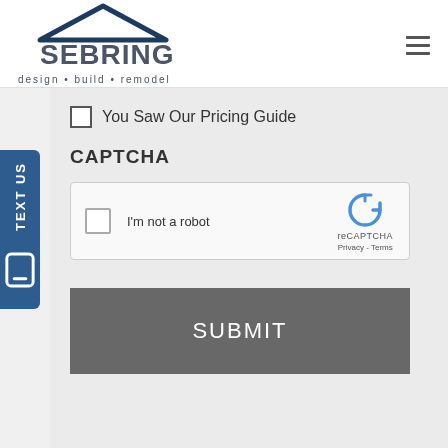[Figure (logo): Sebring Design Build Remodel logo with house roof icon above text]
You Saw Our Pricing Guide (checkbox)
CAPTCHA
[Figure (screenshot): reCAPTCHA widget with checkbox 'I'm not a robot' and reCAPTCHA logo, Privacy and Terms links]
SUBMIT